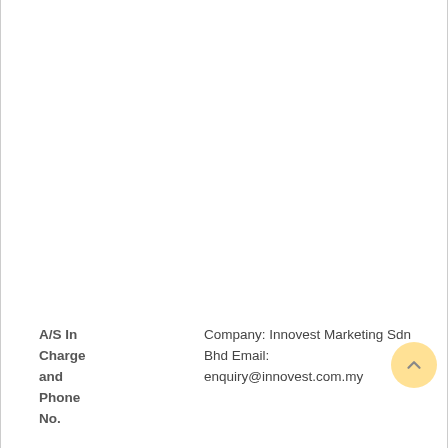A/S In Charge and Phone No.	Company: Innovest Marketing Sdn Bhd Email: enquiry@innovest.com.my